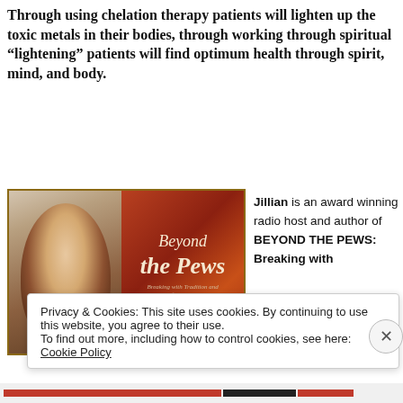Through using chelation therapy patients will lighten up the toxic metals in their bodies, through working through spiritual “lightening” patients will find optimum health through spirit, mind, and body.
[Figure (photo): Photo of Jillian alongside the cover of her book 'Beyond the Pews: Breaking with Tradition and Letting Go of Religious Lockdown']
Jillian is an award winning radio host and author of BEYOND THE PEWS: Breaking with
Privacy & Cookies: This site uses cookies. By continuing to use this website, you agree to their use.
To find out more, including how to control cookies, see here: Cookie Policy
Close and accept